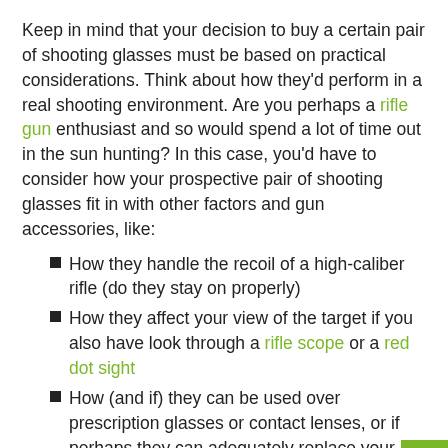Keep in mind that your decision to buy a certain pair of shooting glasses must be based on practical considerations. Think about how they'd perform in a real shooting environment. Are you perhaps a rifle gun enthusiast and so would spend a lot of time out in the sun hunting? In this case, you'd have to consider how your prospective pair of shooting glasses fit in with other factors and gun accessories, like:
How they handle the recoil of a high-caliber rifle (do they stay on properly)
How they affect your view of the target if you also have look through a rifle scope or a red dot sight
How (and if) they can be used over prescription glasses or contact lenses, or if perhaps they can adequately replace your prescription glasses while shooting
For the most important form of protection, however,